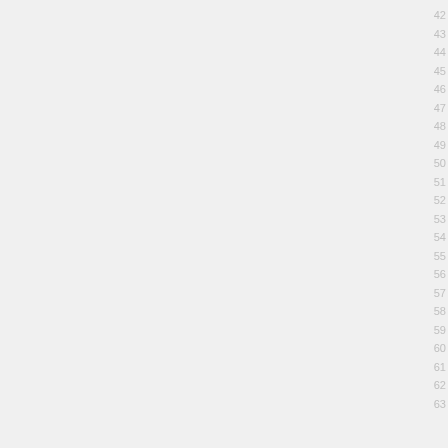42 43 44 45 46 47 48 49 50 51 52 53 54 55 56 57 58 59 60 61 62 63